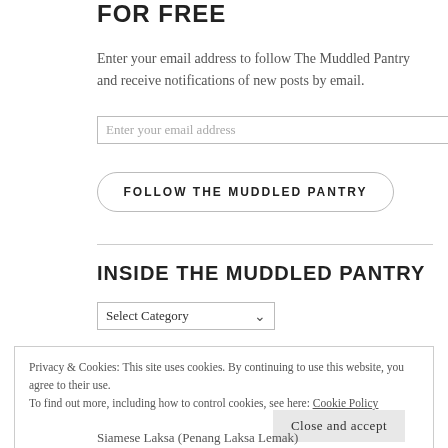FOR FREE
Enter your email address to follow The Muddled Pantry and receive notifications of new posts by email.
Enter your email address
FOLLOW THE MUDDLED PANTRY
INSIDE THE MUDDLED PANTRY
Select Category
Privacy & Cookies: This site uses cookies. By continuing to use this website, you agree to their use.
To find out more, including how to control cookies, see here: Cookie Policy
Close and accept
Siamese Laksa (Penang Laksa Lemak)